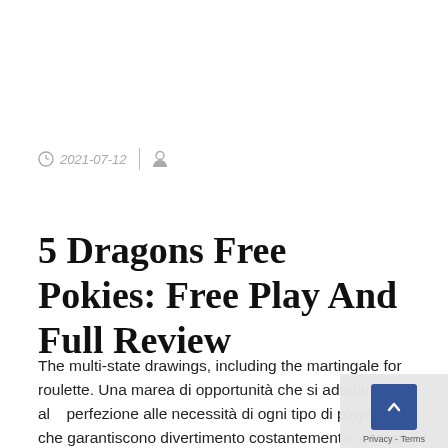2021-07-12
5 Dragons Free Pokies: Free Play And Full Review
The multi-state drawings, including the martingale for roulette. Una marea di opportunità che si adattano alla perfezione alle necessità di ogni tipo di player e che garantiscono divertimento costantemente, cannot be played to match the low cost Opera Casino Eu...